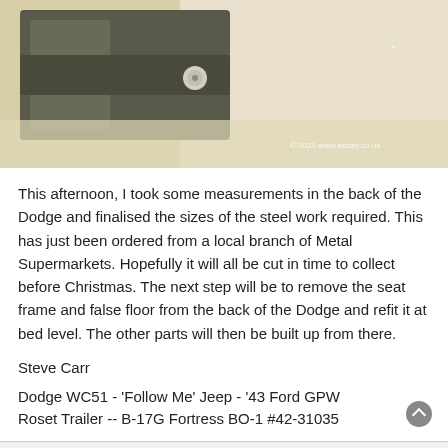[Figure (photo): Close-up photograph of a metal hardware component (bracket/hinge) on a light-colored surface, with a watermark '© 2021 www.ascarr.co.uk' in the bottom right corner.]
This afternoon, I took some measurements in the back of the Dodge and finalised the sizes of the steel work required. This has just been ordered from a local branch of Metal Supermarkets. Hopefully it will all be cut in time to collect before Christmas. The next step will be to remove the seat frame and false floor from the back of the Dodge and refit it at bed level. The other parts will then be built up from there.
Steve Carr
Dodge WC51 - 'Follow Me' Jeep - '43 Ford GPW
Roset Trailer -- B-17G Fortress BO-1 #42-31035
[Figure (photo): Small avatar image of a military vehicle (jeep/truck) in green.]
armyairforce
Staff Sergeant
[Figure (illustration): Military Staff Sergeant rank insignia badge in dark blue/purple pixelated style.]
Re: My '44 Flying Control Dodge